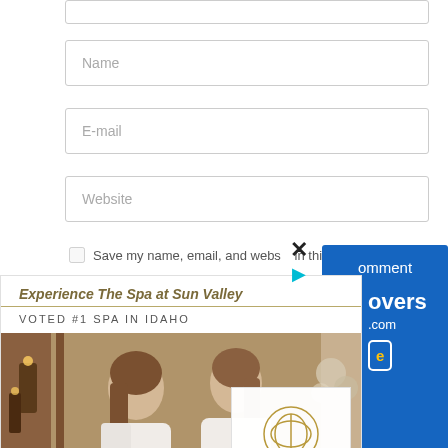[Figure (screenshot): Partial form input field at the top of the page]
Name
E-mail
Website
Save my name, email, and website in this
[Figure (screenshot): Close (X) button overlay and play arrow icon]
[Figure (infographic): The Spa at Sun Valley advertisement with italic headline 'Experience The Spa at Sun Valley', tagline 'VOTED #1 SPA IN IDAHO', photo of two women in robes, Book Now button, and The Spa at Sun Valley logo]
omment
overs
.com